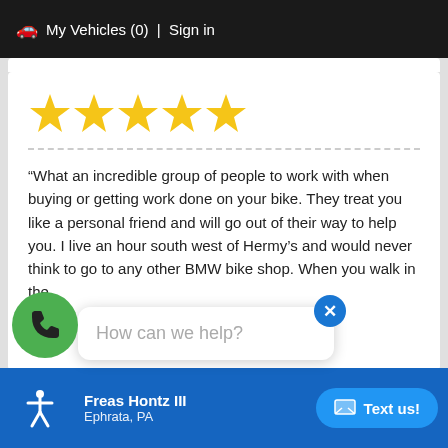My Vehicles (0) | Sign in
[Figure (other): Five gold star rating icons]
“What an incredible group of people to work with when buying or getting work done on your bike. They treat you like a personal friend and will go out of their way to help you. I live an hour south west of Hermy’s and would never think to go to any other BMW bike shop. When you walk in the dealers [greet you]
How can we help?
Freas Hontz III
Ephrata, PA
Text us!